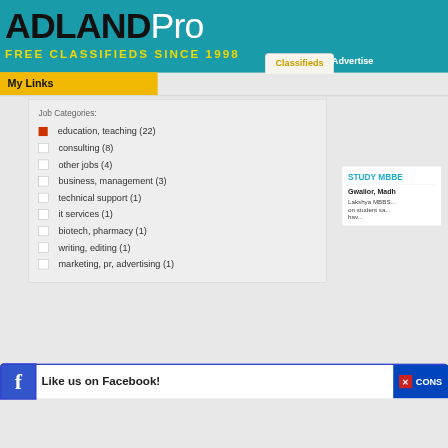[Figure (screenshot): ADLANDPro website header with teal background, logo 'ADLAND' in black bold and 'Pro' in white, tagline 'FREE CLASSIFIEDS SINCE 1998' in yellow]
ADLANDPro
FREE CLASSIFIEDS SINCE 1998
Classifieds | Advertise
My Links
Job Categories:
education, teaching (22)
consulting (8)
other jobs (4)
business, management (3)
technical support (1)
it services (1)
biotech, pharmacy (1)
writing, editing (1)
marketing, pr, advertising (1)
STUDY MBBS
Gwalior, Madh
Lakshya MBBS... on student sa... hav...
Like us on Facebook!
CONS